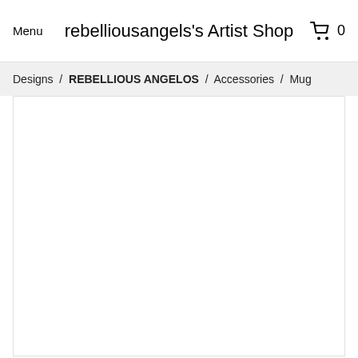Menu  rebelliousangels's Artist Shop  0
Designs / REBELLIOUS ANGELOS / Accessories / Mug
[Figure (other): White blank product image area]